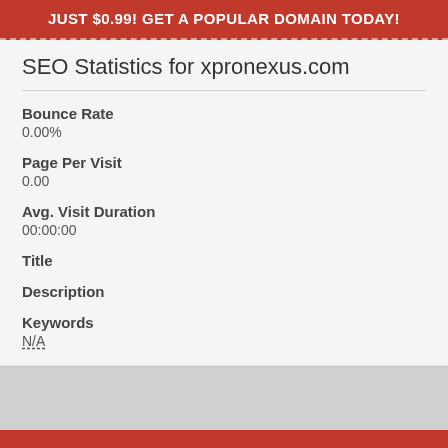JUST $0.99! GET A POPULAR DOMAIN TODAY!
SEO Statistics for xpronexus.com
Bounce Rate
0.00%
Page Per Visit
0.00
Avg. Visit Duration
00:00:00
Title
Description
Keywords
N/A